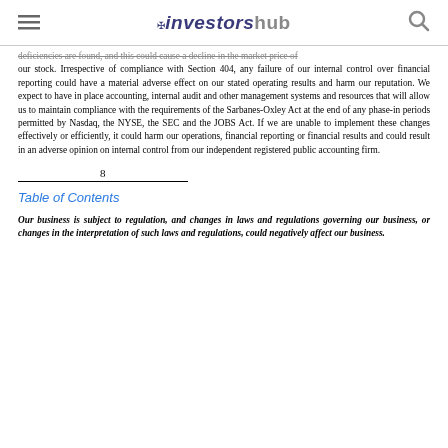investorshub
deficiencies are found, and this could cause a decline in the market price of our stock. Irrespective of compliance with Section 404, any failure of our internal control over financial reporting could have a material adverse effect on our stated operating results and harm our reputation. We expect to have in place accounting, internal audit and other management systems and resources that will allow us to maintain compliance with the requirements of the Sarbanes-Oxley Act at the end of any phase-in periods permitted by Nasdaq, the NYSE, the SEC and the JOBS Act. If we are unable to implement these changes effectively or efficiently, it could harm our operations, financial reporting or financial results and could result in an adverse opinion on internal control from our independent registered public accounting firm.
8
Table of Contents
Our business is subject to regulation, and changes in laws and regulations governing our business, or changes in the interpretation of such laws and regulations, could negatively affect our business.